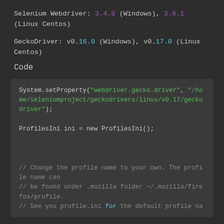Selenium Webdriver: 3.4.0 (Windows), 3.8.1 (Linux Centos)
GeckoDriver: v0.16.0 (Windows), v0.17.0 (Linux Centos)
Code
[Figure (screenshot): Code block showing Java code: System.setProperty with webdriver.gecko.driver path, ProfilesIni ini = new ProfilesIni(), and comments about changing profile name]